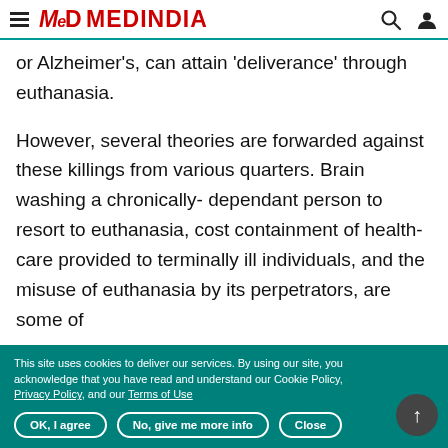MEDINDIA
or Alzheimer's, can attain 'deliverance' through euthanasia.
However, several theories are forwarded against these killings from various quarters. Brain washing a chronically- dependant person to resort to euthanasia, cost containment of health- care provided to terminally ill individuals, and the misuse of euthanasia by its perpetrators, are some of
This site uses cookies to deliver our services. By using our site, you acknowledge that you have read and understand our Cookie Policy, Privacy Policy, and our Terms of Use
OK, I agree   No, give me more info   Close